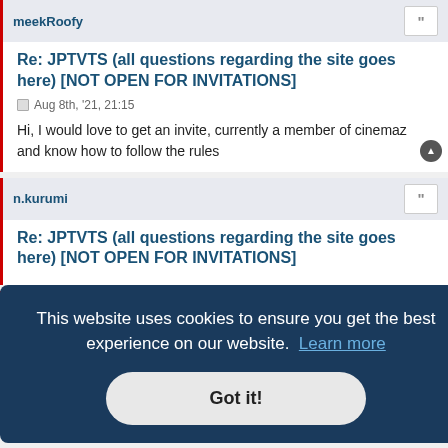meekRoofy
Re: JPTVTS (all questions regarding the site goes here) [NOT OPEN FOR INVITATIONS]
Aug 8th, '21, 21:15
Hi, I would love to get an invite, currently a member of cinemaz and know how to follow the rules
n.kurumi
Re: JPTVTS (all questions regarding the site goes here) [NOT OPEN FOR INVITATIONS]
This website uses cookies to ensure you get the best experience on our website. Learn more
Got it!
Re: JPTVTS (all questions regarding the site goes here)